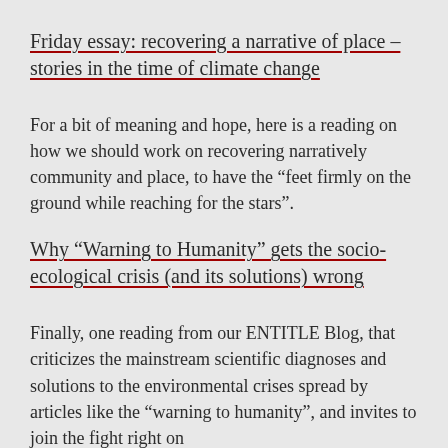Friday essay: recovering a narrative of place – stories in the time of climate change
For a bit of meaning and hope, here is a reading on how we should work on recovering narratively community and place, to have the “feet firmly on the ground while reaching for the stars”.
Why “Warning to Humanity” gets the socio-ecological crisis (and its solutions) wrong
Finally, one reading from our ENTITLE Blog, that criticizes the mainstream scientific diagnoses and solutions to the environmental crises spread by articles like the “warning to humanity”, and invites to join the fight right on